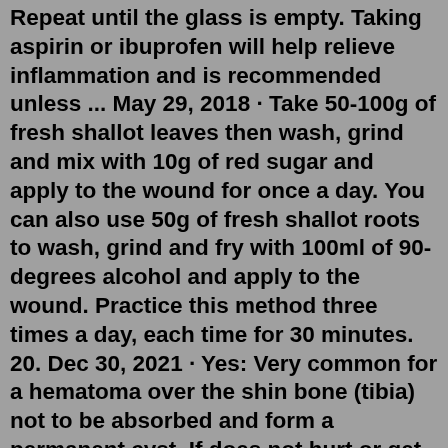Repeat until the glass is empty. Taking aspirin or ibuprofen will help relieve inflammation and is recommended unless ... May 29, 2018 · Take 50-100g of fresh shallot leaves then wash, grind and mix with 10g of red sugar and apply to the wound for once a day. You can also use 50g of fresh shallot roots to wash, grind and fry with 100ml of 90-degrees alcohol and apply to the wound. Practice this method three times a day, each time for 30 minutes. 20. Dec 30, 2021 · Yes: Very common for a hematoma over the shin bone (tibia) not to be absorbed and form a permanent cyst. If does not hurt or get in your way leave it along... Read More. 90,000 U.S. doctors in 147 specialties are here to answer your questions or offer you advice, prescriptions, and more. Get help now: A hematoma or haematoma is where trauma or injury (usually a direct hit) damages your veins or arteries - blood escapes and collects outside the blood vessels (arteries and veins) in a muscle or within soft tissue and can form a localised hard mass under the surface of your skin. Common Signs & Symptoms A lump